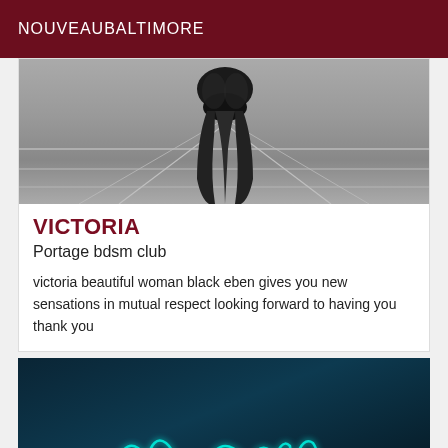NOUVEAUBALTIMORE
[Figure (photo): Black and white photo showing lower torso and legs of a person wearing a black bikini bottom, standing on what appears to be a tiled or paved surface.]
VICTORIA
Portage bdsm club
victoria beautiful woman black eben gives you new sensations in mutual respect looking forward to having you thank you
[Figure (photo): Dark teal/navy background with glowing cyan neon sign text in cursive, partially visible at bottom of page.]